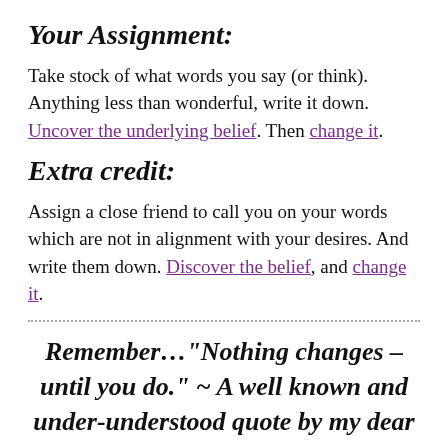Your Assignment:
Take stock of what words you say (or think). Anything less than wonderful, write it down. Uncover the underlying belief. Then change it.
Extra credit:
Assign a close friend to call you on your words which are not in alignment with your desires. And write them down. Discover the belief, and change it.
Remember…“Nothing changes – until you do.” ~ A well known and under-understood quote by my dear